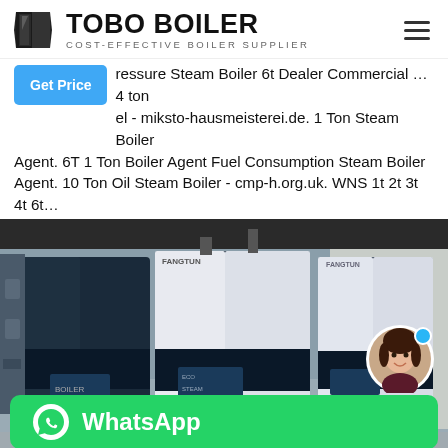TOBO BOILER — COST-EFFECTIVE BOILER SUPPLIER
ressure Steam Boiler 6t Dealer Commercial … 4 ton el - miksto-hausmeisterei.de. 1 Ton Steam Boiler Agent. 6T 1 Ton Boiler Agent Fuel Consumption Steam Boiler Agent. 10 Ton Oil Steam Boiler - cmp-h.org.uk. WNS 1t 2t 3t 4t 6t…
[Figure (photo): Industrial boilers (FANGTUN brand) in a factory or plant setting, three large blue and white boiler units side by side. WhatsApp chat button overlay at the bottom. Avatar of a woman in the bottom right corner.]
Supplier Boiler Machine Energy Saving 6 Ton